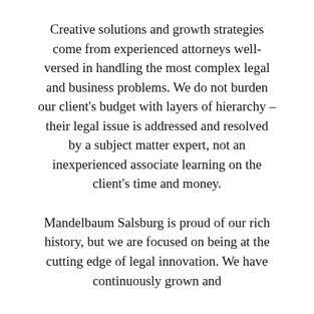Creative solutions and growth strategies come from experienced attorneys well-versed in handling the most complex legal and business problems. We do not burden our client's budget with layers of hierarchy – their legal issue is addressed and resolved by a subject matter expert, not an inexperienced associate learning on the client's time and money.
Mandelbaum Salsburg is proud of our rich history, but we are focused on being at the cutting edge of legal innovation. We have continuously grown and